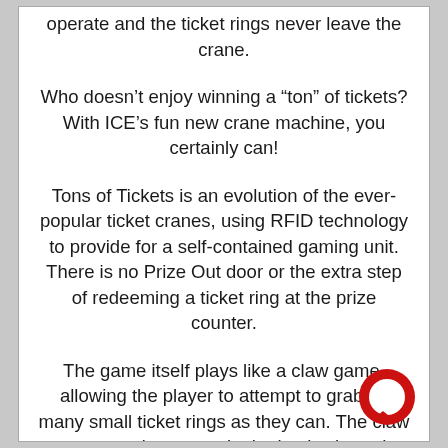operate and the ticket rings never leave the crane.
Who doesn’t enjoy winning a “ton” of tickets? With ICE’s fun new crane machine, you certainly can!
Tons of Tickets is an evolution of the ever-popular ticket cranes, using RFID technology to provide for a self-contained gaming unit. There is no Prize Out door or the extra step of redeeming a ticket ring at the prize counter.
The game itself plays like a claw game, allowing the player to attempt to grab as many small ticket rings as they can. The claw goes toward a sensor in the back where the rings are held a moment to scan. Any that don’t fall through are counted toward’s the player’s ticket earnings;